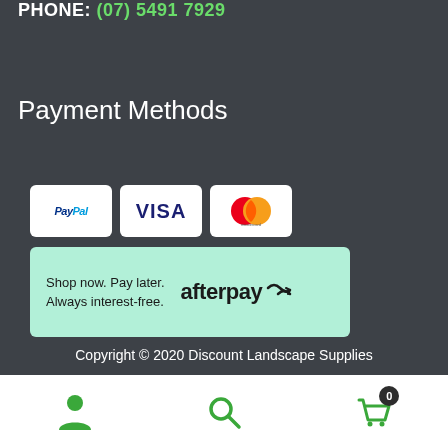PHONE: (07) 5491 7929
Payment Methods
[Figure (logo): Payment method logos: PayPal, Visa, Mastercard]
[Figure (logo): Afterpay banner: Shop now. Pay later. Always interest-free. afterpay logo]
Copyright © 2020 Discount Landscape Supplies